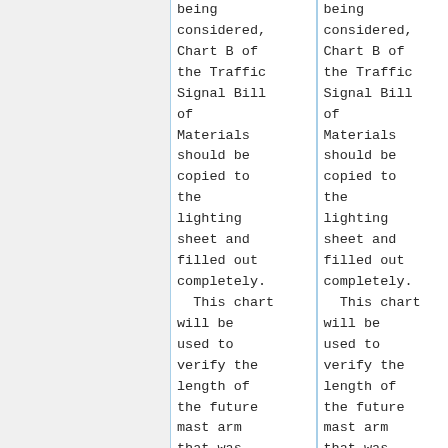being considered, Chart B of the Traffic Signal Bill of Materials should be copied to the lighting sheet and filled out completely.  This chart will be used to verify the length of the future mast arm that was
being considered, Chart B of the Traffic Signal Bill of Materials should be copied to the lighting sheet and filled out completely.  This chart will be used to verify the length of the future mast arm that was